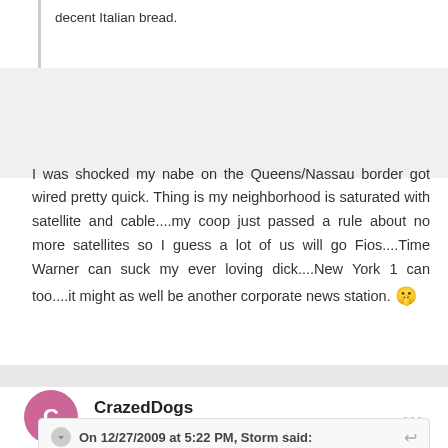decent Italian bread.
I was shocked my nabe on the Queens/Nassau border got wired pretty quick. Thing is my neighborhood is saturated with satellite and cable....my coop just passed a rule about no more satellites so I guess a lot of us will go Fios....Time Warner can suck my ever loving dick....New York 1 can too....it might as well be another corporate news station. 🤫
CrazedDogs
Posted January 6, 2010
On 12/27/2009 at 5:22 PM, Storm said:
Sounds like a Monopoly....